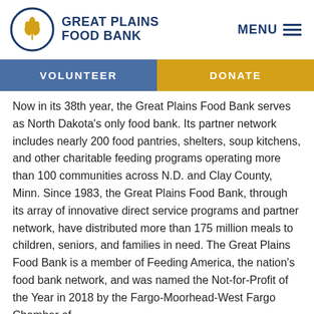[Figure (logo): Great Plains Food Bank logo: circular emblem with wheat/grain graphic in gold on navy background, with text GREAT PLAINS FOOD BANK in bold navy letters]
MENU
VOLUNTEER
DONATE
Now in its 38th year, the Great Plains Food Bank serves as North Dakota's only food bank. Its partner network includes nearly 200 food pantries, shelters, soup kitchens, and other charitable feeding programs operating more than 100 communities across N.D. and Clay County, Minn. Since 1983, the Great Plains Food Bank, through its array of innovative direct service programs and partner network, have distributed more than 175 million meals to children, seniors, and families in need. The Great Plains Food Bank is a member of Feeding America, the nation's food bank network, and was named the Not-for-Profit of the Year in 2018 by the Fargo-Moorhead-West Fargo Chamber of